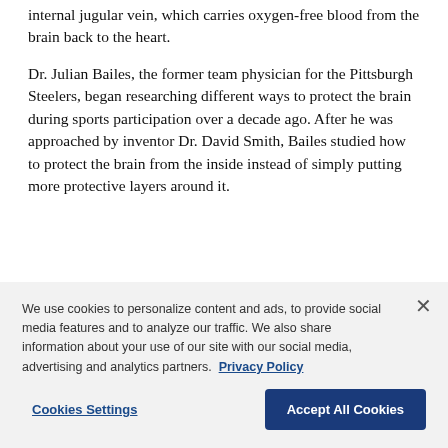internal jugular vein, which carries oxygen-free blood from the brain back to the heart.
Dr. Julian Bailes, the former team physician for the Pittsburgh Steelers, began researching different ways to protect the brain during sports participation over a decade ago. After he was approached by inventor Dr. David Smith, Bailes studied how to protect the brain from the inside instead of simply putting more protective layers around it.
“Knowing that helmets don’t prevent concussions and…
We use cookies to personalize content and ads, to provide social media features and to analyze our traffic. We also share information about your use of our site with our social media, advertising and analytics partners. Privacy Policy
Cookies Settings
Accept All Cookies